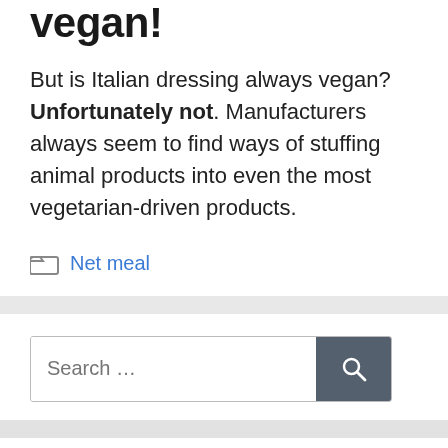vegan!
But is Italian dressing always vegan? Unfortunately not. Manufacturers always seem to find ways of stuffing animal products into even the most vegetarian-driven products.
Net meal
[Figure (other): Search bar with text input placeholder 'Search ...' and a dark grey search button with magnifying glass icon]
From me